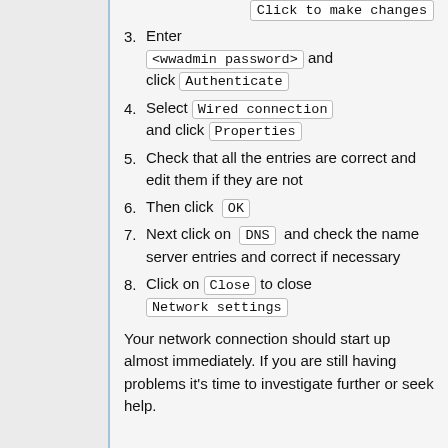Click to make changes
3. Enter <wwadmin password> and click Authenticate
4. Select Wired connection and click Properties
5. Check that all the entries are correct and edit them if they are not
6. Then click OK
7. Next click on DNS and check the name server entries and correct if necessary
8. Click on Close to close Network settings
Your network connection should start up almost immediately. If you are still having problems it's time to investigate further or seek help.